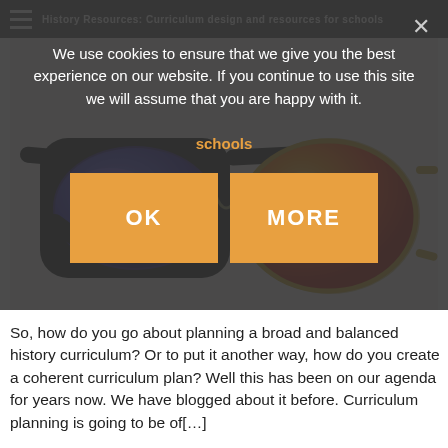History Resources: Curriculum design and resources for schools
[Figure (photo): Two pairs of sunglasses with reflective lenses on a white background. Left pair has a black plastic frame with blue/purple mirrored lenses. Right pair has a gold metal frame with orange/red mirrored lenses.]
We use cookies to ensure that we give you the best experience on our website. If you continue to use this site we will assume that you are happy with it.
OK   MORE
So, how do you go about planning a broad and balanced history curriculum? Or to put it another way, how do you create a coherent curriculum plan? Well this has been on our agenda for years now. We have blogged about it before. Curriculum planning is going to be of[…]